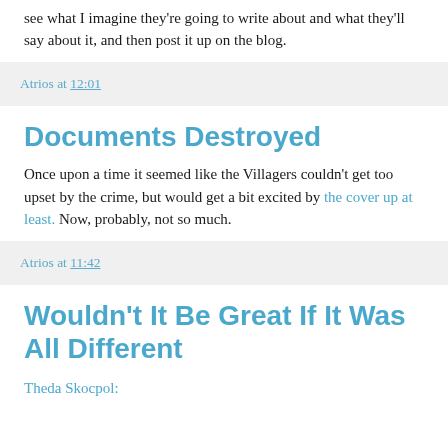see what I imagine they're going to write about and what they'll say about it, and then post it up on the blog.
Atrios at 12:01
Documents Destroyed
Once upon a time it seemed like the Villagers couldn't get too upset by the crime, but would get a bit excited by the cover up at least. Now, probably, not so much.
Atrios at 11:42
Wouldn't It Be Great If It Was All Different
Theda Skocpol: